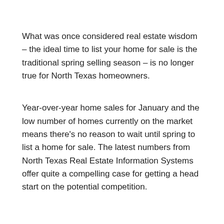What was once considered real estate wisdom – the ideal time to list your home for sale is the traditional spring selling season – is no longer true for North Texas homeowners.
Year-over-year home sales for January and the low number of homes currently on the market means there's no reason to wait until spring to list a home for sale. The latest numbers from North Texas Real Estate Information Systems offer quite a compelling case for getting a head start on the potential competition.